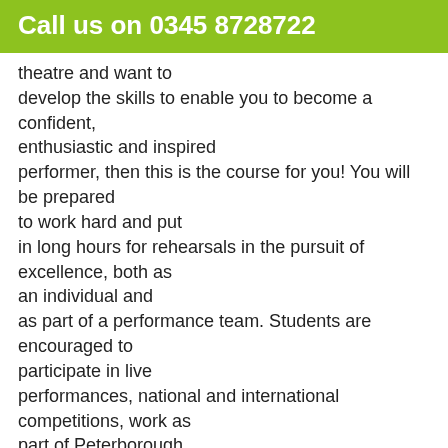Call us on 0345 8728722
theatre and want to develop the skills to enable you to become a confident, enthusiastic and inspired performer, then this is the course for you! You will be prepared to work hard and put in long hours for rehearsals in the pursuit of excellence, both as an individual and as part of a performance team. Students are encouraged to participate in live performances, national and international competitions, work as part of Peterborough College's Arts Theatre Company and take part in the National Theatre's Connections.
This website uses cookies to improve your experience. We'll assume you're ok with this, but you can opt-out if y...